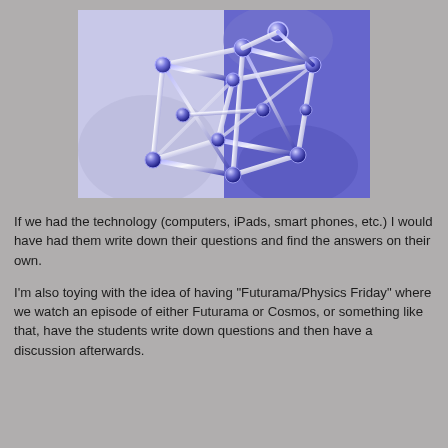[Figure (illustration): 3D rendered image of a crystal or molecular lattice structure made of blue glass-like rods and spherical nodes, set against a split background of light lavender and medium blue-purple.]
If we had the technology (computers, iPads, smart phones, etc.) I would have had them write down their questions and find the answers on their own.
I'm also toying with the idea of having "Futurama/Physics Friday" where we watch an episode of either Futurama or Cosmos, or something like that, have the students write down questions and then have a discussion afterwards.